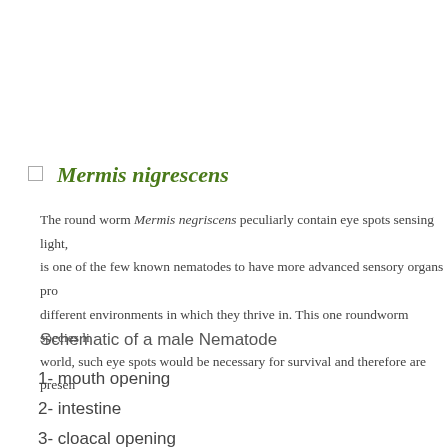Mermis nigrescens
The round worm Mermis negriscens peculiarly contain eye spots sensing light, is one of the few known nematodes to have more advanced sensory organs pro different environments in which they thrive in. This one roundworm species li world, such eye spots would be necessary for survival and therefore are presen
Schematic of a male Nematode
1- mouth opening
2- intestine
3- cloacal opening
4- organ of excretion